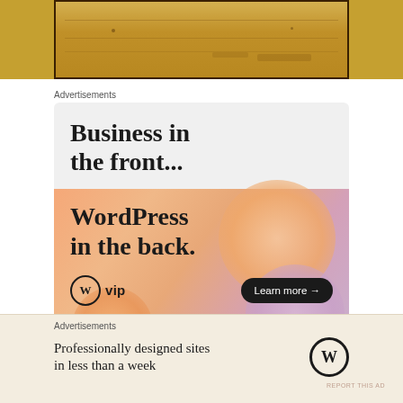[Figure (photo): Historical map or document image with aged yellow/brown background, framed with dark border]
Advertisements
[Figure (illustration): WordPress VIP advertisement: 'Business in the front... WordPress in the back.' with Learn more button and WP VIP logo on peach/gradient background]
REPORT THIS AD
Advertisements
[Figure (illustration): WordPress advertisement: 'Professionally designed sites in less than a week' with WordPress logo on beige background]